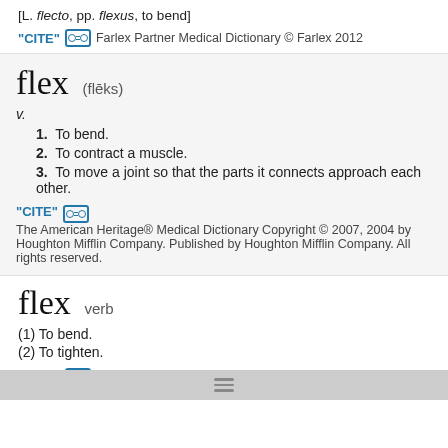[L. flecto, pp. flexus, to bend]
"CITE" [link] Farlex Partner Medical Dictionary © Farlex 2012
flex (flēks)
v.
1. To bend.
2. To contract a muscle.
3. To move a joint so that the parts it connects approach each other.
"CITE" [link] The American Heritage® Medical Dictionary Copyright © 2007, 2004 by Houghton Mifflin Company. Published by Houghton Mifflin Company. All rights reserved.
flex  verb
(1) To bend.
(2) To tighten.
"CITE" [link] Segen's Medical Dictionary. © 2012 Farlex, Inc. All rights reserved.